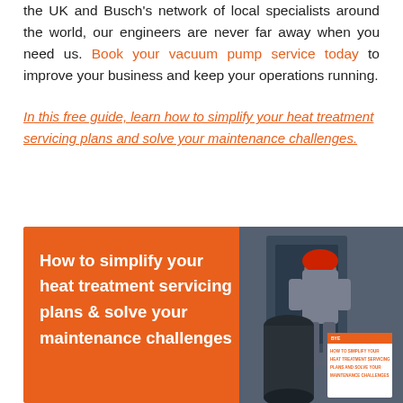the UK and Busch's network of local specialists around the world, our engineers are never far away when you need us. Book your vacuum pump service today to improve your business and keep your operations running.
In this free guide, learn how to simplify your heat treatment servicing plans and solve your maintenance challenges.
[Figure (illustration): Orange banner/advertisement showing 'How to simplify your heat treatment servicing plans & solve your maintenance challenges' with a photo of a worker in industrial setting and a small book cover thumbnail.]